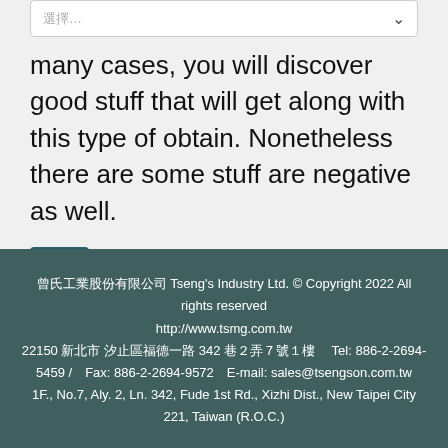[Figure (screenshot): Dropdown select box with placeholder text and down-arrow chevron]
many cases, you will discover good stuff that will get along with this type of obtain. Nonetheless there are some stuff are negative as well.
lorem (tag button)
[Figure (screenshot): Social sharing buttons: Facebook Like (0), Twitter Tweet, and Share button]
曾氏工業股份有限公司 Tseng's Industry Ltd. © Copyright 2022 All rights reserved
http://www.tsmg.com.tw
22150 新北市 汐止區福德一路 342 巷２弄７號１樓　Tel: 886-2-2694-5459 / Fax: 886-2-2694-9572  E-mail: sales@tsengson.com.tw
1F., No.7, Aly. 2, Ln. 342, Fude 1st Rd., Xizhi Dist., New Taipei City 221, Taiwan (R.O.C.)